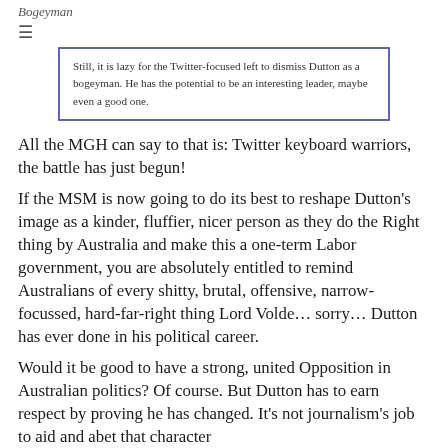Bogeyman
≡
Still, it is lazy for the Twitter-focused left to dismiss Dutton as a bogeyman. He has the potential to be an interesting leader, maybe even a good one.
All the MGH can say to that is: Twitter keyboard warriors, the battle has just begun!
If the MSM is now going to do its best to reshape Dutton's image as a kinder, fluffier, nicer person as they do the Right thing by Australia and make this a one-term Labor government, you are absolutely entitled to remind Australians of every shitty, brutal, offensive, narrow-focussed, hard-far-right thing Lord Volde… sorry… Dutton has ever done in his political career.
Would it be good to have a strong, united Opposition in Australian politics? Of course. But Dutton has to earn respect by proving he has changed. It's not journalism's job to aid and abet that character